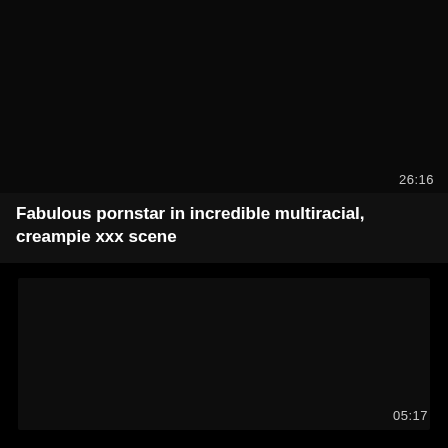[Figure (screenshot): Dark/black video thumbnail area (top)]
26:16
Fabulous pornstar in incredible multiracial, creampie xxx scene
[Figure (screenshot): Dark/black video thumbnail area (bottom)]
05:17